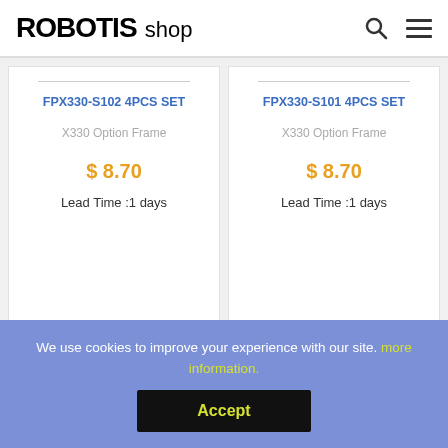ROBOTIS shop
FPX330-S102 4PCS SET
X330 Option Frame
$ 8.70
Lead Time :1 days
FPX330-S101 4PCS SET
X330 Option Frame
$ 8.70
Lead Time :1 days
We use cookies to improve your experience with our site. more information.
Accept